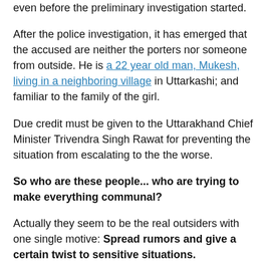even before the preliminary investigation started.
After the police investigation, it has emerged that the accused are neither the porters nor someone from outside. He is a 22 year old man, Mukesh, living in a neighboring village in Uttarkashi; and familiar to the family of the girl.
Due credit must be given to the Uttarakhand Chief Minister Trivendra Singh Rawat for preventing the situation from escalating to the the worse.
So who are these people... who are trying to make everything communal?
Actually they seem to be the real outsiders with one single motive: Spread rumors and give a certain twist to sensitive situations.
These people are always more than eager to make everything communal. They are the same people who love spreading rumors. They are same people who shoot the videos of blood smeared bodies and instantly share them on Facebook with no hindails...